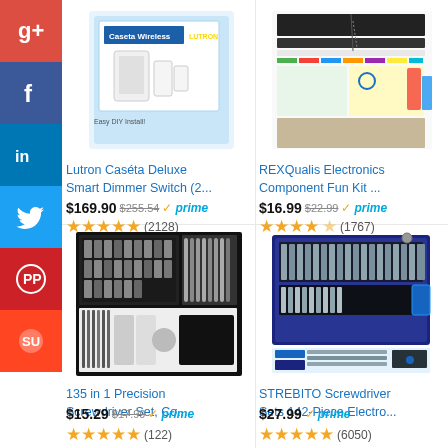[Figure (photo): Lutron Caséta Deluxe Smart Dimmer Switch product image]
Lutron Caséta Deluxe Smart Dimmer Switch (2...
$169.90 $255.54 ✓prime
★★★★★ (2128)
[Figure (photo): REXQualis Electronics Component Fun Kit product image]
REXQualis Electronics Component Fun Kit ...
$16.99 $22.99 ✓prime
★★★★☆ (1767)
[Figure (photo): 135 in 1 Precision Screwdriver Set product image]
135 in 1 Precision Screwdriver Set, Co...
$15.29 $17.99 ✓prime
★★★★★ (122)
[Figure (photo): STREBITO Screwdriver Sets 142-Piece Electronics Screwdriver Set product image]
STREBITO Screwdriver Sets 142-Piece Electro...
$27.99 ✓prime
★★★★★ (6050)